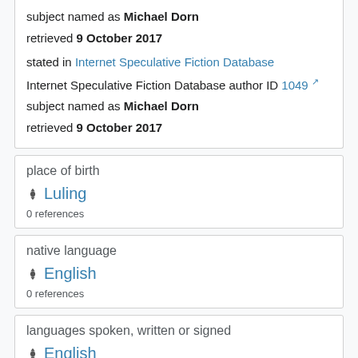SNAC ARK ID W6040l3p
subject named as Michael Dorn
retrieved 9 October 2017
stated in Internet Speculative Fiction Database
Internet Speculative Fiction Database author ID 1049
subject named as Michael Dorn
retrieved 9 October 2017
place of birth
Luling
0 references
native language
English
0 references
languages spoken, written or signed
English